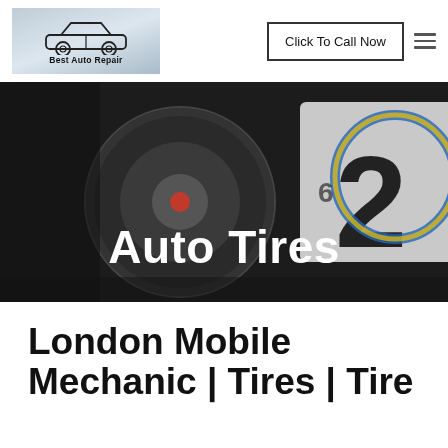[Figure (logo): Best Auto Repair logo with car outline illustration and light blue-grey background]
Click To Call Now
Auto Tires
London Mobile Mechanic | Tires | Tire